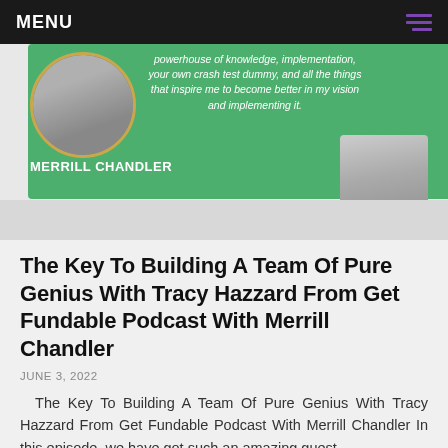MENU
[Figure (photo): Podcast banner image showing Merrill Chandler (man, circular portrait) on a green background with italic quote text: 'powerhouse of knowledge, implementation, your own crash test dummy, and all the things that inspire me to become better in my vision and implementing it.' Closing quotation mark in white. Name 'MERRILL CHANDLER' in bold white. Second person (woman) portrait in lower right.]
The Key To Building A Team Of Pure Genius With Tracy Hazzard From Get Fundable Podcast With Merrill Chandler
JUNE 3, 2022
The Key To Building A Team Of Pure Genius With Tracy Hazzard From Get Fundable Podcast With Merrill Chandler In this episode, we have got such an amazing guest....